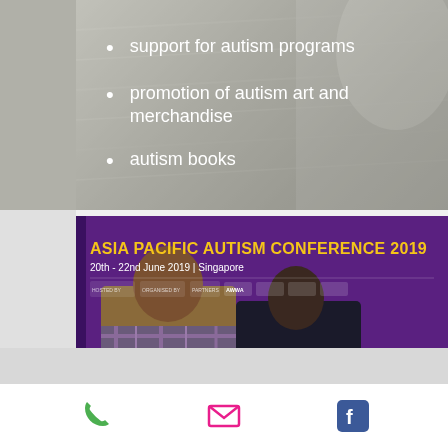support for autism programs
promotion of autism art and merchandise
autism books
[Figure (photo): Asia Pacific Autism Conference 2019 banner with two smiling people holding a #APAC19 sign, purple background with yellow flowers]
[Figure (infographic): Bottom toolbar with phone, email, and Facebook icons on white background]